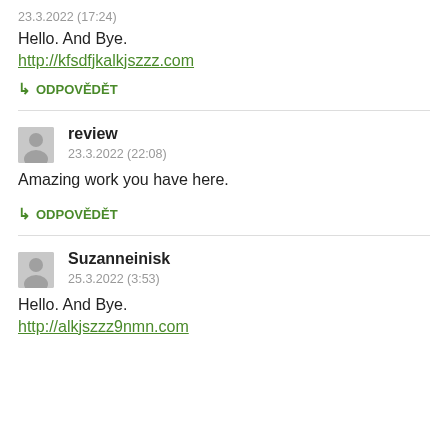23.3.2022 (17:24)
Hello. And Bye.
http://kfsdfjkalkjszzz.com
↳ ODPOVĚDĚT
review
23.3.2022 (22:08)
Amazing work you have here.
↳ ODPOVĚDĚT
Suzanneinisk
25.3.2022 (3:53)
Hello. And Bye.
http://alkjszzz9nmn.com